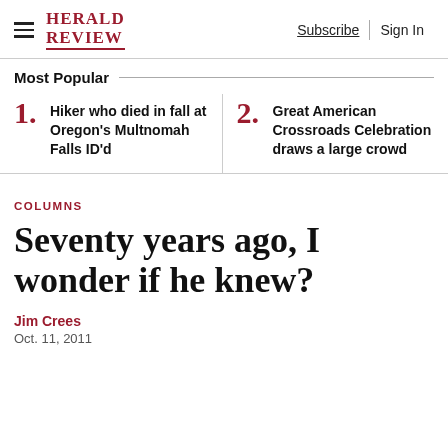HERALD REVIEW — Subscribe | Sign In
Most Popular
1. Hiker who died in fall at Oregon's Multnomah Falls ID'd
2. Great American Crossroads Celebration draws a large crowd
COLUMNS
Seventy years ago, I wonder if he knew?
Jim Crees
Oct. 11, 2011